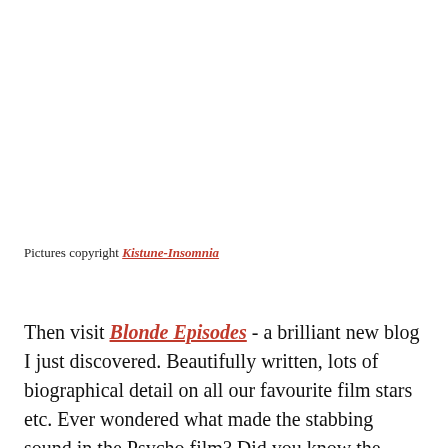Pictures copyright Kistune-Insomnia
Then visit Blonde Episodes - a brilliant new blog I just discovered. Beautifully written, lots of biographical detail on all our favourite film stars etc. Ever wondered what made the stabbing sound in the Psycho film? Did you know the Roosevelt hotel is haunted? Was Joan Crawford a Mommie...